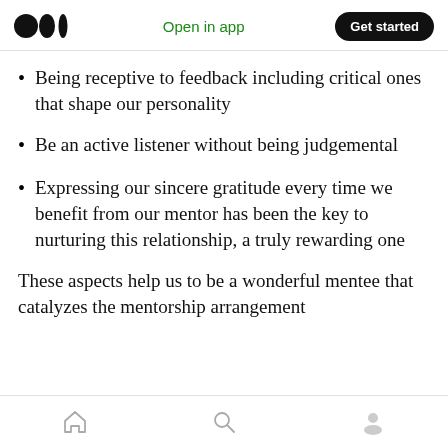Medium app header: logo, Open in app, Get started
Being receptive to feedback including critical ones that shape our personality
Be an active listener without being judgemental
Expressing our sincere gratitude every time we benefit from our mentor has been the key to nurturing this relationship, a truly rewarding one
These aspects help us to be a wonderful mentee that catalyzes the mentorship arrangement
Bottom navigation bar with home, search, and profile icons